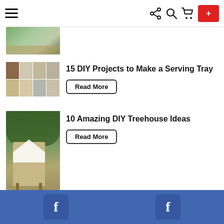Navigation bar with hamburger menu, share, search, cart icons, and Subscribe button
[Figure (photo): Thumbnail image of plants/garden scene at top, partially visible]
[Figure (photo): Mosaic grid of 8 small thumbnail images for serving tray DIY projects]
15 DIY Projects to Make a Serving Tray
Read More
[Figure (photo): Photo of a DIY treehouse with white tent/canopy, wooden structure, surrounded by trees]
10 Amazing DIY Treehouse Ideas
Read More
Our picks
[Figure (screenshot): Facebook social widget bar in blue with two Facebook 'f' icon boxes]